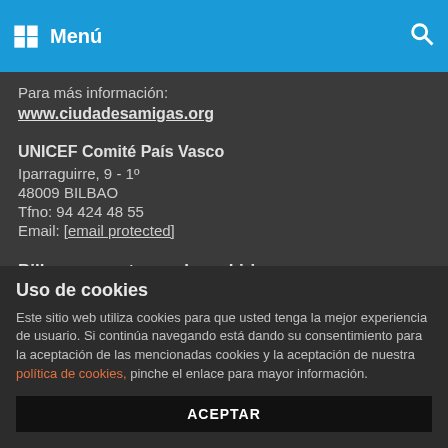Menú
Para más información:
www.ciudadesamigas.org
UNICEF Comité País Vasco
Iparraguirre, 9 - 1º
48009 BILBAO
Tfno: 94 424 48 55
Email: [email protected]
Bilbao, ume eta nerabeen hiria
Fundación EDE y Suspergintza Elkartea son las entidades encargadas de acompañar al Ayuntamiento de Bilbao en el
Uso de cookies
Este sitio web utiliza cookies para que usted tenga la mejor experiencia de usuario. Si continúa navegando está dando su consentimiento para la aceptación de las mencionadas cookies y la aceptación de nuestra política de cookies, pinche el enlace para mayor información.
ACEPTAR